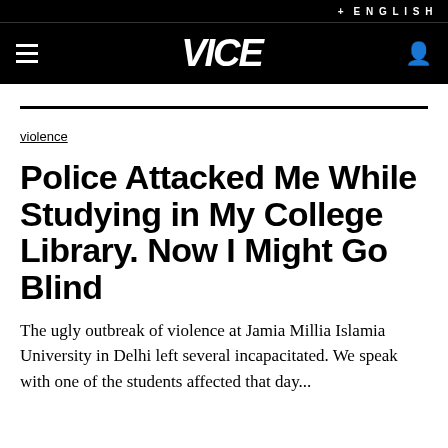+ ENGLISH
VICE
violence
Police Attacked Me While Studying in My College Library. Now I Might Go Blind
The ugly outbreak of violence at Jamia Millia Islamia University in Delhi left several incapacitated. We speak with one of the students affected...